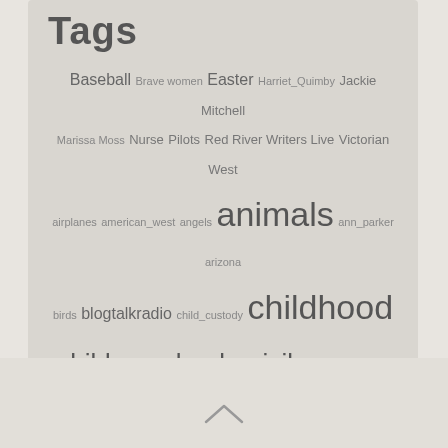Tags
Baseball Brave women Easter Harriet_Quimby Jackie Mitchell Marissa Moss Nurse Pilots Red River Writers Live Victorian West airplanes american_west angels animals ann_parker arizona birds blogtalkradio child_custody childhood childrens_books civil war colorado courtesy dignity dog earth_stewardship family food grandchildren heritage history leadville marissa_moss memories mining mother_influence mutts nancy_e_turner pets photos pitcher recipes sarah_edmonds small_creatures spring vegetables victorian_west western migration wildlife
[Figure (other): Up arrow chevron icon at bottom of page]